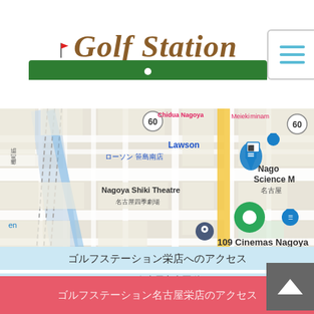[Figure (logo): Golf Station logo with flag icon, italic serif text, and green underbar with white dot]
[Figure (map): Google Maps screenshot showing Nagoya area with landmarks: Lawson, Nagoya Shiki Theatre (名古屋四季劇場), 109 Cinemas Nagoya, Nago Science M (名古屋), Meieki Minami, route 60 markers, and various map pins]
〒460-0008 名古屋市中区栄2-4-10
オリックス栄ビル6F
TEL：052-232-3600
平日・土10:00〜22:00／日祝21:00まで
ゴルフステーション栄店へのアクセス
ゴルフステーション名古屋栄店のアクセス